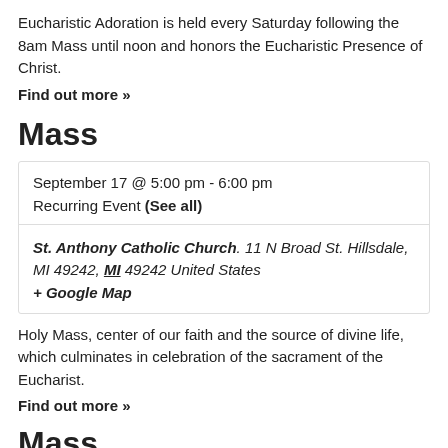Eucharistic Adoration is held every Saturday following the 8am Mass until noon and honors the Eucharistic Presence of Christ.
Find out more »
Mass
| September 17 @ 5:00 pm - 6:00 pm | Recurring Event (See all) |
| St. Anthony Catholic Church, 11 N Broad St. Hillsdale, MI 49242, MI 49242 United States
+ Google Map |
Holy Mass, center of our faith and the source of divine life, which culminates in celebration of the sacrament of the Eucharist.
Find out more »
Mass
| September @ ?.? |